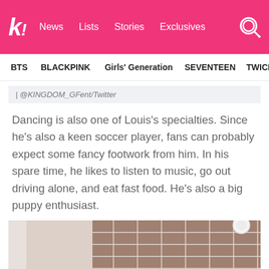k! News Lists Stories Exclusives
BTS BLACKPINK Girls' Generation SEVENTEEN TWICE
| @KINGDOM_GFent/Twitter
Dancing is also one of Louis's specialties. Since he's also a keen soccer player, fans can probably expect some fancy footwork from him. In his spare time, he likes to listen to music, go out driving alone, and eat fast food. He's also a big puppy enthusiast.
[Figure (photo): Photo showing a person near tiled wall background, partially cropped at bottom of page]